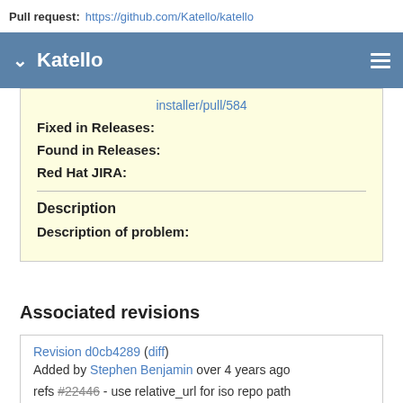Pull request: https://github.com/Katello/katello
Katello
installer/pull/584
Fixed in Releases:
Found in Releases:
Red Hat JIRA:
Description
Description of problem:
Associated revisions
Revision d0cb4289 (diff)
Added by Stephen Benjamin over 4 years ago
refs #22446 - use relative_url for iso repo path
Revision 9c93fadc (diff)
Added by Stephen Benjamin over 4 years ago
fixes #22446 - use relative_url for file repo paths